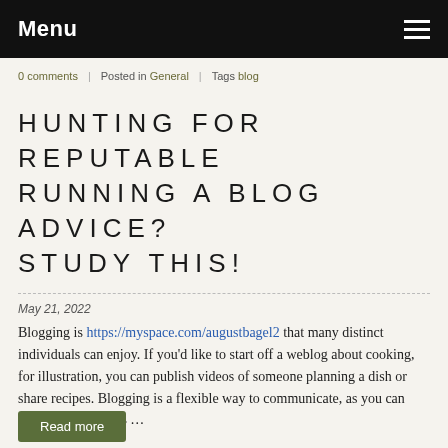Menu
0 comments   Posted in General   Tags blog
HUNTING FOR REPUTABLE RUNNING A BLOG ADVICE? STUDY THIS!
May 21, 2022
Blogging is https://myspace.com/augustbagel2 that many distinct individuals can enjoy. If you'd like to start off a weblog about cooking, for illustration, you can publish videos of someone planning a dish or share recipes. Blogging is a flexible way to communicate, as you can include your guests …